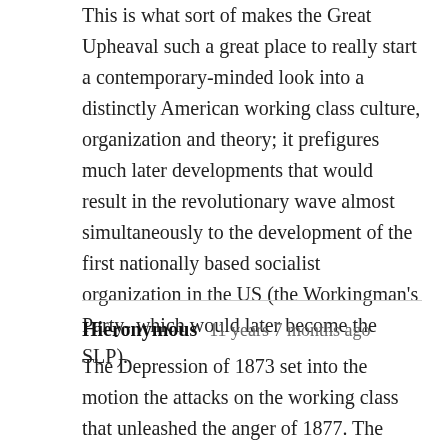This is what sort of makes the Great Upheaval such a great place to really start a contemporary-minded look into a distinctly American working class culture, organization and theory; it prefigures much later developments that would result in the revolutionary wave almost simultaneously to the development of the first nationally based socialist organization in the US (the Workingman's Party- which would later become the SLP).
Hieronymous  11 years 7 months ago
The Depression of 1873 set into the motion the attacks on the working class that unleashed the anger of 1877. The "long